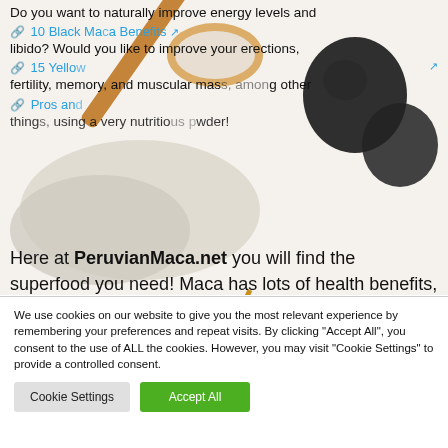[Figure (photo): Photo of maca powder on a wooden spoon with black maca roots and yellow/red maca roots arranged on a white background, overlaid with article text and link items.]
Do you want to naturally improve energy levels and libido? Would you like to improve your erections, fertility, memory, and muscular mass, among other things, using a very nutritious powder?
🔗 10 Black Maca Benefits ↗
🔗 15 Yellow...
🔗 Pros and...
Here at PeruvianMaca.net you will find the superfood you need! Maca has lots of health benefits, and you can choose red, yellow, or black maca to be able to boost your life. Order organic and...
We use cookies on our website to give you the most relevant experience by remembering your preferences and repeat visits. By clicking "Accept All", you consent to the use of ALL the cookies. However, you may visit "Cookie Settings" to provide a controlled consent.